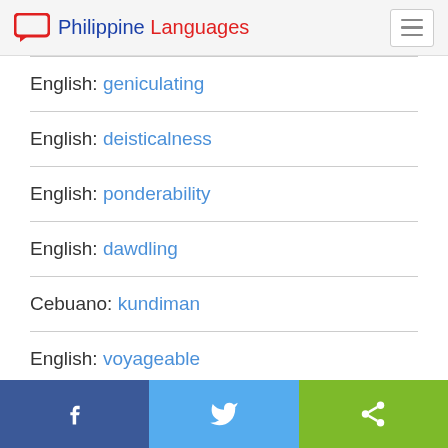Philippine Languages
English: geniculating
English: deisticalness
English: ponderability
English: dawdling
Cebuano: kundiman
English: voyageable
Facebook | Twitter | Share